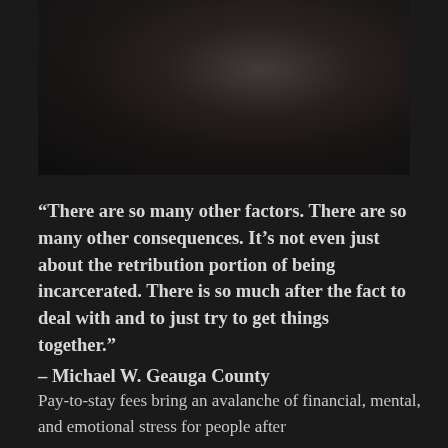[Figure (photo): A dark, dimly lit photograph showing a person in a white shirt, mostly obscured by shadows. The image is very dark with low contrast.]
“There are so many other factors. There are so many other consequences. It’s not even just about the retribution portion of being incarcerated. There is so much after the fact to deal with and to just try to get things together.”
– Michael W. Geauga County
Pay-to-stay fees bring an avalanche of financial, mental, and emotional stress for people after